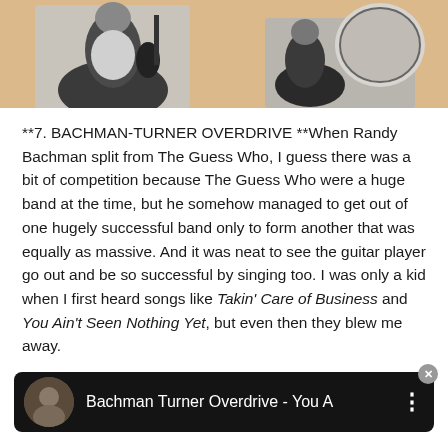[Figure (photo): Black and white photo of musicians (band members) against a peach/tan background, partially cropped at top of page]
**7. BACHMAN-TURNER OVERDRIVE **When Randy Bachman split from The Guess Who, I guess there was a bit of competition because The Guess Who were a huge band at the time, but he somehow managed to get out of one hugely successful band only to form another that was equally as massive. And it was neat to see the guitar player go out and be so successful by singing too. I was only a kid when I first heard songs like Takin' Care of Business and You Ain't Seen Nothing Yet, but even then they blew me away.
[Figure (screenshot): Video player bar showing a circular thumbnail photo of a person and the title text 'Bachman Turner Overdrive - You A' with three-dot menu icon and close button]